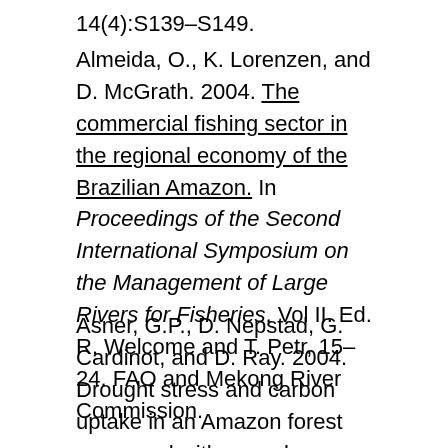14(4):S139–S149.
Almeida, O., K. Lorenzen, and D. McGrath. 2004. The commercial fishing sector in the regional economy of the Brazilian Amazon. In Proceedings of the Second International Symposium on the Management of Large Rivers for Fisheries, Vol II. Ed. R. Welcome and T. Petr, 15–24. FAO and Mekong River Commission.
Asner, G.P., D. Nepstad, G. Cardinot, and D. Ray. 2004. Drought stress and carbon uptake in an Amazon forest measured with spaceborne imaging spectroscopy. Proceedings of the National Academy of